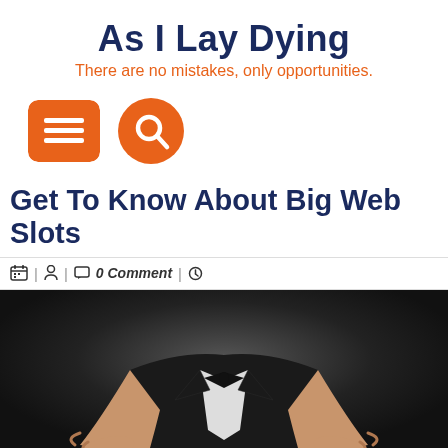As I Lay Dying
There are no mistakes, only opportunities.
[Figure (screenshot): Navigation icons: orange square menu hamburger icon and orange circle search icon]
Get To Know About Big Web Slots
| | 0 Comment |
[Figure (photo): A person in a black suit and bow tie with hands open/outstretched, photographed against a dark background]